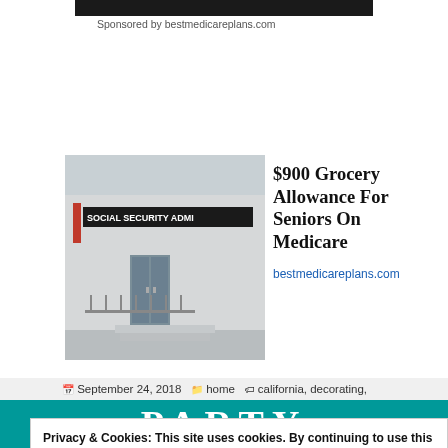Sponsored by bestmedicareplans.com
[Figure (photo): Social Security Administration building entrance with signage reading 'SOCIAL SECURITY ADMI...']
$900 Grocery Allowance For Seniors On Medicare
bestmedicareplans.com
September 24, 2018   home   california, decorating, design, district, down town, dtla, flower, flower district, flower market, flowers, home, inspiration, interior, los angeles, market, ...
Privacy & Cookies: This site uses cookies. By continuing to use this website, you agree to their use.
To find out more, including how to control cookies, see here: Cookie Policy
Close and accept
PARTY